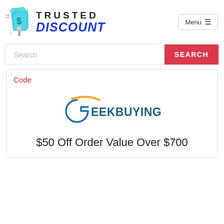[Figure (logo): Trusted Discount website logo with cyan card/dollar-sign icon on left, 'TRUSTED' in dark text and 'DISCOUNT' in bold blue italic text on right]
Menu ≡
Search
SEARCH
Code
[Figure (logo): GeekBuying logo: stylized 'G' in blue with orange swoosh, followed by 'EEKBUYING' in dark teal/blue bold text]
$50 Off Order Value Over $700